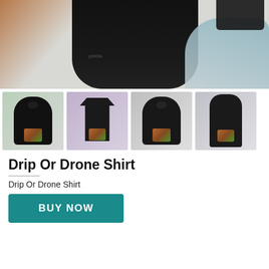[Figure (photo): Main product flat-lay image showing a black hoodie/sweatshirt in the center with brown boots on the left and a blue-grey knit item on the right, on a white surface. A dark item is visible in the upper right corner.]
[Figure (photo): Thumbnail 1: Black hoodie with 'Drip Or Drone' graphic print on a green background]
[Figure (photo): Thumbnail 2: Black t-shirt with 'Drip Or Drone' graphic print on a purple/plaid background]
[Figure (photo): Thumbnail 3: Back view of black hoodie with 'Drip Or Drone' graphic, grey background]
[Figure (photo): Thumbnail 4: Person wearing black hoodie with 'Drip Or Drone' graphic, seated, grey background]
Drip Or Drone Shirt
Drip Or Drone Shirt
BUY NOW